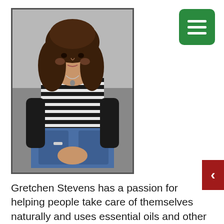[Figure (photo): Portrait photo of a young woman with long dark wavy hair, wearing a black and white striped long-sleeve top and blue jeans, seated cross-legged on a gray background, hands clasped in front.]
Gretchen Stevens has a passion for helping people take care of themselves naturally and uses essential oils and other natural techniques to help people manage stress, improve their health, and even overcome addiction. She has been a certified